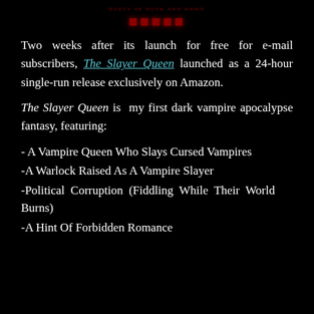DUETS OF DUSK AND DAWN
Two weeks after its launch for free for e-mail subscribers, The Slayer Queen launched as a 24-hour single-run release exclusively on Amazon.
The Slayer Queen is my first dark vampire apocalypse fantasy, featuring:
- A Vampire Queen Who Slays Cursed Vampires
-A Warlock Raised As A Vampire Slayer
-Political Corruption (Fiddling While Their World Burns)
-A Hint Of Forbidden Romance